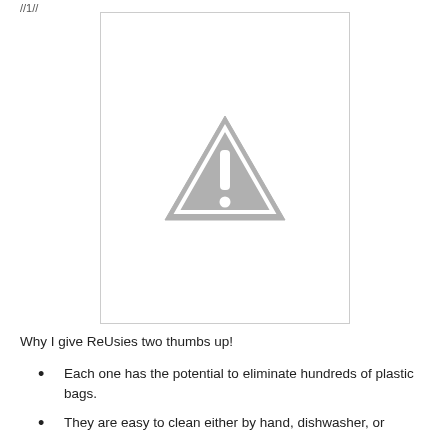//1//
[Figure (illustration): A warning/caution triangle icon (gray triangle with white exclamation mark) centered in a bordered white rectangle.]
Why I give ReUsies two thumbs up!
Each one has the potential to eliminate hundreds of plastic bags.
They are easy to clean either by hand, dishwasher, or